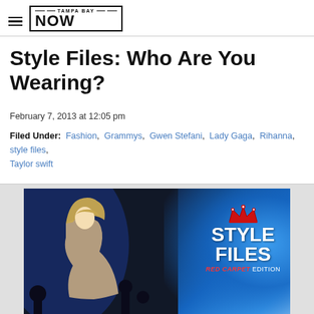TAMPA BAY NOW
Style Files: Who Are You Wearing?
February 7, 2013 at 12:05 pm
Filed Under: Fashion, Grammys, Gwen Stefani, Lady Gaga, Rihanna, style files, Taylor swift
[Figure (photo): Taylor Swift at the Grammys with Style Files Red Carpet Edition logo overlay on a blue-lit background]